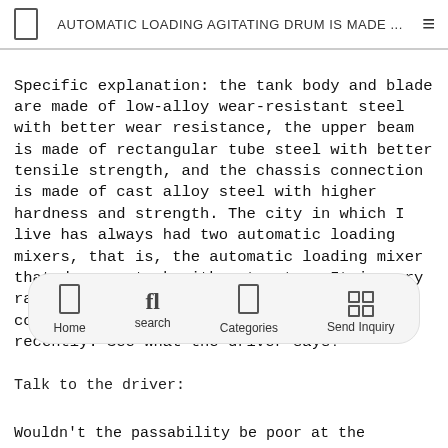AUTOMATIC LOADING AGITATING DRUM IS MADE ...
Specific explanation: the tank body and blade are made of low-alloy wear-resistant steel with better wear resistance, the upper beam is made of rectangular tube steel with better tensile strength, and the chassis connection is made of cast alloy steel with higher hardness and strength. The city in which I live has always had two automatic loading mixers, that is, the automatic loading mixer that drags a tank with a tractor. It is very rare to use such a truck for transporting commercial concrete. I happened to meet one recently. See what the driver says!
Talk to the driver:
Wouldn't the passability be poor at the